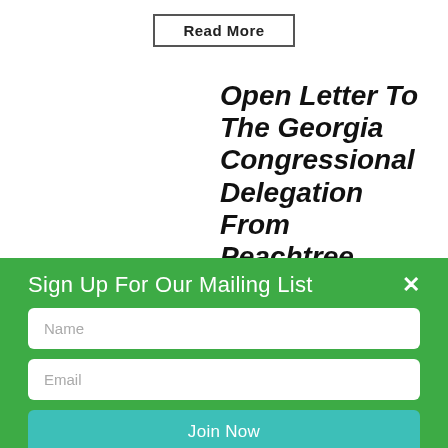Read More
Open Letter to the Georgia Congressional Delegation from Peachtree NORML:
Sign Up For Our Mailing List
Name
Email
Join Now